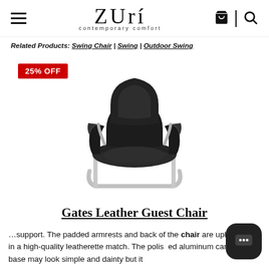Zuri contemporary comfort — hamburger menu, cart, search icons
Related Products: Swing Chair | Swing | Outdoor Swing
25% OFF
[Figure (photo): Black leather guest chair with padded back and armrests on a polished aluminum cantilevered base]
Gates Leather Guest Chair
…support. The padded armrests and back of the chair are upholstered in a high-quality leatherette match. The polished aluminum cantilevered base may look simple and dainty but it